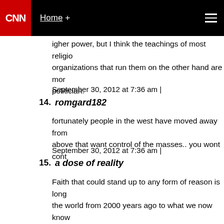CNN | Home +
igher power, but I think the teachings of most religio... organizations that run them on the other hand are mor... politician.
September 30, 2012 at 7:36 am |
14. romgard182
fortunately people in the west have moved away from... above that want control of the masses.. you wont cont...
September 30, 2012 at 7:36 am |
15. a dose of reality
Faith that could stand up to any form of reason is long... the world from 2000 years ago to what we now know... irrevocably changed the need for religion. We do not r... and religion becomes obsolete as an explanation whe... one among many different beliefs. We now see that th... one leap; it is a leap repeatedly made, and a leap that... take the more it is taken, reaching its pinnacle in blin...